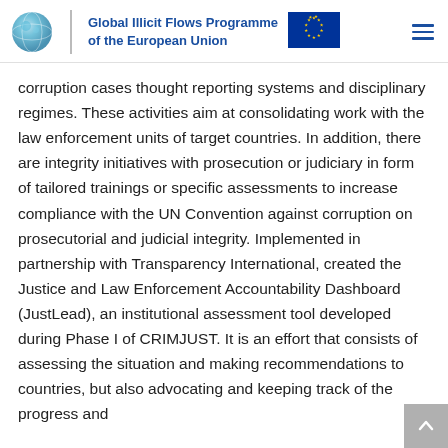Global Illicit Flows Programme of the European Union
corruption cases thought reporting systems and disciplinary regimes. These activities aim at consolidating work with the law enforcement units of target countries. In addition, there are integrity initiatives with prosecution or judiciary in form of tailored trainings or specific assessments to increase compliance with the UN Convention against corruption on prosecutorial and judicial integrity. Implemented in partnership with Transparency International, created the Justice and Law Enforcement Accountability Dashboard (JustLead), an institutional assessment tool developed during Phase I of CRIMJUST. It is an effort that consists of assessing the situation and making recommendations to countries, but also advocating and keeping track of the progress and